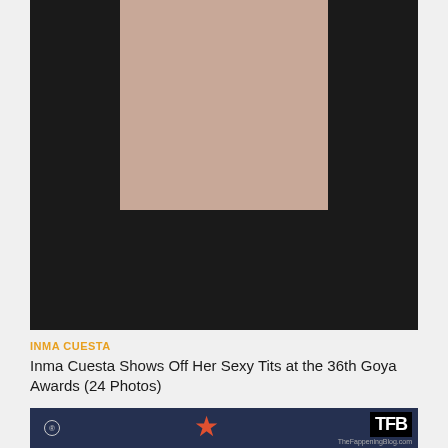[Figure (photo): Close-up photo of a woman wearing a black low-cut dress, showing cleavage and upper chest area, against a dark background]
INMA CUESTA
Inma Cuesta Shows Off Her Sexy Tits at the 36th Goya Awards (24 Photos)
[Figure (photo): Partial photo at bottom showing a dark blue background with a red star shape and TFB (TheFappeningBlog.com) logo watermark]